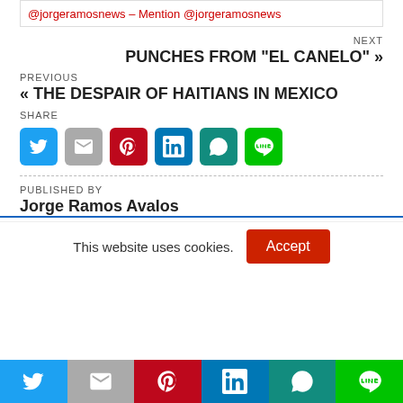@jorgeramosnews – Mention @jorgeramosnews
NEXT
PUNCHES FROM "EL CANELO" »
PREVIOUS
« THE DESPAIR OF HAITIANS IN MEXICO
SHARE
[Figure (infographic): Row of 6 social share icon buttons: Twitter (blue), Gmail (grey), Pinterest (red), LinkedIn (blue), WhatsApp (dark teal), Line (green)]
PUBLISHED BY
Jorge Ramos Avalos
This website uses cookies.
[Figure (infographic): Bottom bar with 6 social share icons: Twitter, Gmail, Pinterest, LinkedIn, WhatsApp, Line]